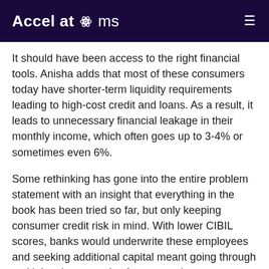Accel atoms
It should have been access to the right financial tools. Anisha adds that most of these consumers today have shorter-term liquidity requirements leading to high-cost credit and loans. As a result, it leads to unnecessary financial leakage in their monthly income, which often goes up to 3-4% or sometimes even 6%.
Some rethinking has gone into the entire problem statement with an insight that everything in the book has been tried so far, but only keeping consumer credit risk in mind. With lower CIBIL scores, banks would underwrite these employees and seeking additional capital meant going through multiple other agencies for approvals.
What if this market segment got access